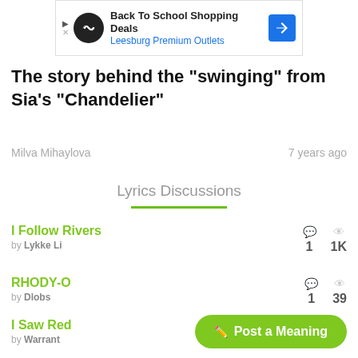[Figure (screenshot): Ad banner: Back To School Shopping Deals - Leesburg Premium Outlets]
The story behind the "swinging" from Sia's "Chandelier"
Milva Mihaylova   7 years ago
Lyrics Discussions
I Follow Rivers by Lykke Li — 1 comment, 1K views
RHODY-O by Dlobs — 1 comment, 39 views
I Saw Red by Warrant